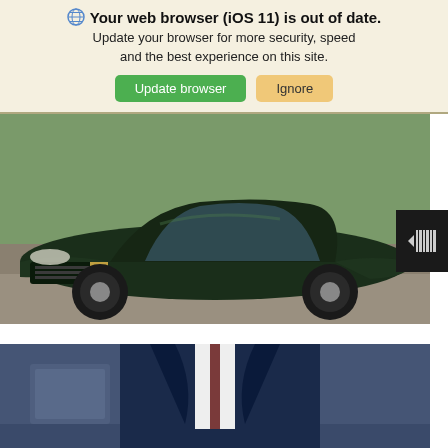Your web browser (iOS 11) is out of date. Update your browser for more security, speed and the best experience on this site.
Update browser | Ignore
[Figure (photo): Dark green Cadillac CT4 sedan photographed from a front three-quarter angle on a road with hills and greenery in the background.]
[Figure (other): Barcode/scanner icon button on dark background, positioned at right edge of car image.]
[Figure (photo): Person in a dark suit holding cash money, sitting at a desk with blurred background. A green chat bubble button is visible at bottom right.]